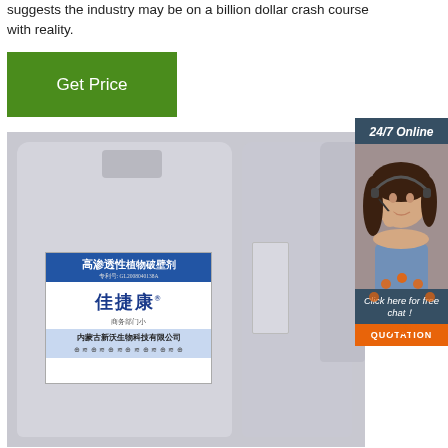suggests the industry may be on a billion dollar crash course with reality.
[Figure (other): Green 'Get Price' button]
[Figure (photo): White plastic industrial containers/jugs with Chinese product label reading 高渗透性 (high permeability) and brand 佳捷康, manufactured by 内蒙古新沃生物科技有限公司]
[Figure (infographic): Sidebar showing 24/7 Online customer service with photo of woman wearing headset, 'Click here for free chat!' text, and orange QUOTATION button, plus orange TOP badge at bottom]